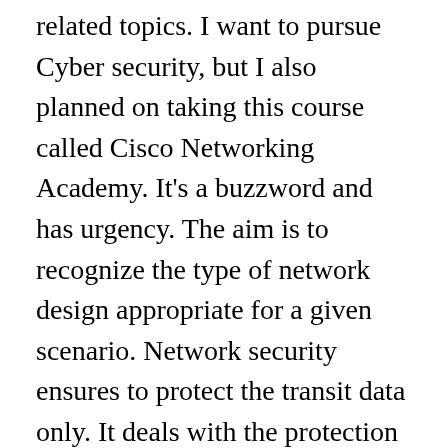related topics. I want to pursue Cyber security, but I also planned on taking this course called Cisco Networking Academy. It's a buzzword and has urgency. The aim is to recognize the type of network design appropriate for a given scenario. Network security ensures to protect the transit data only. It deals with the protection from cyber attacks. So I feel confident with this side of the game and I really enjoy learning more about networking. It calls upon firewalls, anti-virus software, and virtual private networks for help and guidance. It includes phishing and pre-texting. Cyber security ... Identify and define system security requirements . Even though the terms “data” and “information” are often used